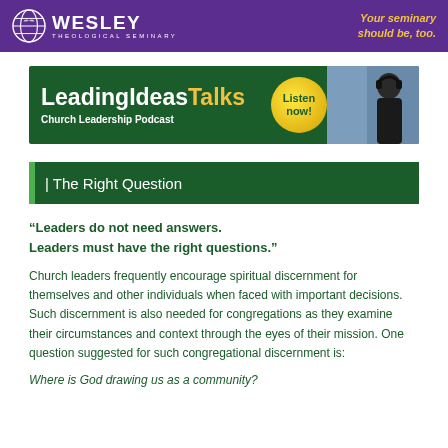[Figure (logo): Wesley Theological Seminary banner with globe icon, purple background, and yellow italic tagline 'Your seminary should be, too.']
[Figure (logo): LeadingIdeasTalks Church Leadership Podcast banner with green background, yellow 'Listen now!' burst, and person with headphones photo]
| The Right Question
“Leaders do not need answers. Leaders must have the right questions.”
Church leaders frequently encourage spiritual discernment for themselves and other individuals when faced with important decisions. Such discernment is also needed for congregations as they examine their circumstances and context through the eyes of their mission. One question suggested for such congregational discernment is:
Where is God drawing us as a community?